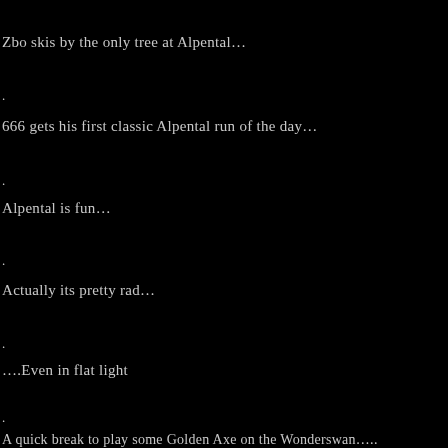Zbo skis by the only tree at Alpental…
.
666 gets his first classic Alpental run of the day…
.
Alpental is fun…
.
Actually its pretty rad…
.
….Even in flat light
.
A quick break to play some Golden Axe on the Wonderswan….
.